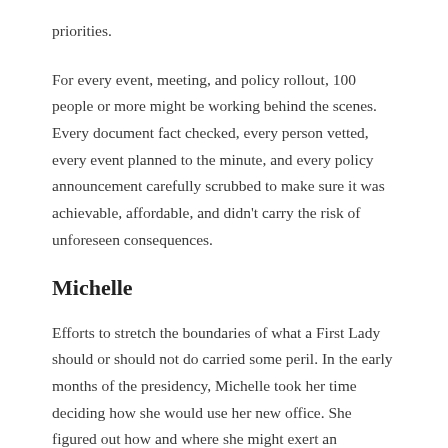priorities.
For every event, meeting, and policy rollout, 100 people or more might be working behind the scenes. Every document fact checked, every person vetted, every event planned to the minute, and every policy announcement carefully scrubbed to make sure it was achievable, affordable, and didn’t carry the risk of unforeseen consequences.
Michelle
Efforts to stretch the boundaries of what a First Lady should or should not do carried some peril. In the early months of the presidency, Michelle took her time deciding how she would use her new office. She figured out how and where she might exert an influence, while carefully and